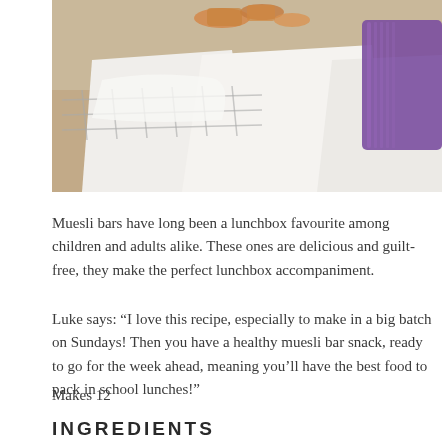[Figure (photo): Close-up photo of muesli bars on white parchment paper on a cooling rack, with a purple container visible on the right side]
Muesli bars have long been a lunchbox favourite among children and adults alike. These ones are delicious and guilt-free, they make the perfect lunchbox accompaniment.
Luke says: “I love this recipe, especially to make in a big batch on Sundays! Then you have a healthy muesli bar snack, ready to go for the week ahead, meaning you’ll have the best food to pack in school lunches!”
Makes 12
INGREDIENTS